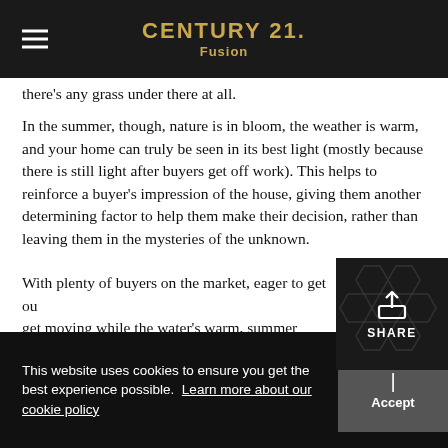CENTURY 21. Fusion
there's any grass under there at all.
In the summer, though, nature is in bloom, the weather is warm, and your home can truly be seen in its best light (mostly because there is still light after buyers get off work). This helps to reinforce a buyer's impression of the house, giving them another determining factor to help them make their decision, rather than leaving them in the mysteries of the unknown.
With plenty of buyers on the market, eager to get out get moving while the water's warm, summer 2020 is shaping out to be a great time to be a seller. And if y
This website uses cookies to ensure you get the best experience possible. Learn more about our cookie policy
Accept